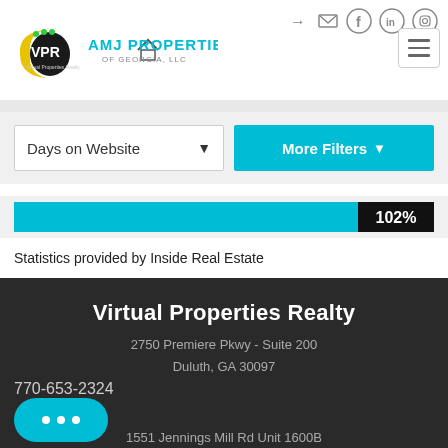[Figure (logo): VPR Virtual Properties Realty logo - circular yellow and black design with green dots]
[Figure (logo): AMJ Properties of Georgia LLC logo with roof/house icon]
[Figure (infographic): Social media icons: login arrow, mail envelope, Facebook, LinkedIn, Instagram in circles; hamburger menu button]
Days on Website
More Filters
[Figure (infographic): Teal horizontal progress bar showing 102%]
Statistics provided by Inside Real Estate
Virtual Properties Realty
2750 Premiere Pkwy - Suite 200
Duluth, GA 30097
770-653-2324
[Figure (infographic): Teal rounded chat button with three dots]
1551 Jennings Mill Rd Unit 1600B